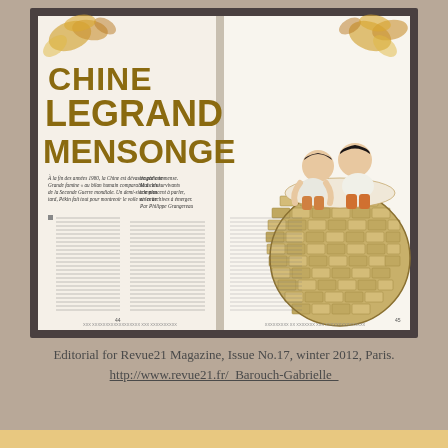[Figure (photo): Photograph of an open magazine spread of Revue21 Magazine Issue No.17. The left page shows a bold editorial headline 'CHINE LE GRAND MENSONGE' in large gold/brown letters with decorative autumn leaf illustrations, followed by article text in French. The right page features an illustration of two children sitting on top of a large woven basket-ball-like sphere, with floral decorations in the corners.]
Editorial for Revue21 Magazine, Issue No.17, winter 2012, Paris.
http://www.revue21.fr/_Barouch-Gabrielle_